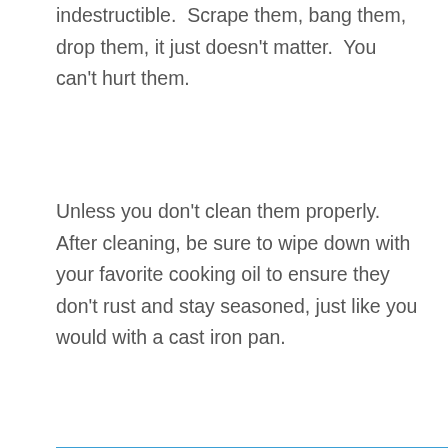indestructible.  Scrape them, bang them, drop them, it just doesn't matter.  You can't hurt them.
Unless you don't clean them properly.  After cleaning, be sure to wipe down with your favorite cooking oil to ensure they don't rust and stay seasoned, just like you would with a cast iron pan.
[Figure (other): Amazon-branded blue banner button with italic white text: Get more information on QuilMetal 7638 Cast Iron Grates for Spirit 300]
shinestar stainless steel grates for spirit 300